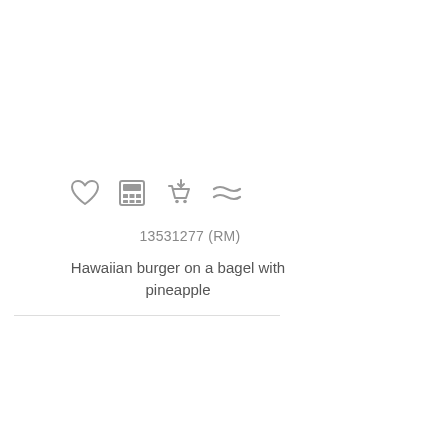[Figure (infographic): Row of four icons: heart (favorite), calculator, shopping cart with download arrow, and approximately-equals symbol]
13531277 (RM)
Hawaiian burger on a bagel with pineapple